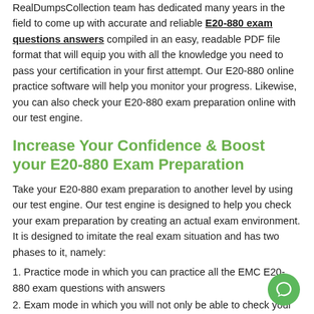RealDumpsCollection team has dedicated many years in the field to come up with accurate and reliable E20-880 exam questions answers compiled in an easy, readable PDF file format that will equip you with all the knowledge you need to pass your certification in your first attempt. Our E20-880 online practice software will help you monitor your progress. Likewise, you can also check your E20-880 exam preparation online with our test engine.
Increase Your Confidence & Boost your E20-880 Exam Preparation
Take your E20-880 exam preparation to another level by using our test engine. Our test engine is designed to help you check your exam preparation by creating an actual exam environment. It is designed to imitate the real exam situation and has two phases to it, namely:
1. Practice mode in which you can practice all the EMC E20-880 exam questions with answers
2. Exam mode in which you will not only be able to check your exam preparation but will also get the sense of sitting in an actual exam